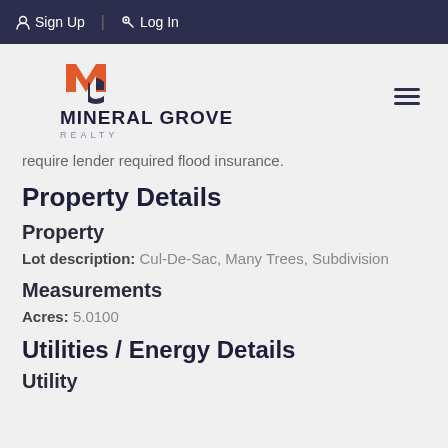Sign Up | Log In
[Figure (logo): Mineral Grove Realty logo with orange and navy shield/letter mark and text 'MINERAL GROVE REALTY']
require lender required flood insurance.
Property Details
Property
Lot description: Cul-De-Sac, Many Trees, Subdivision
Measurements
Acres: 5.0100
Utilities / Energy Details
Utility